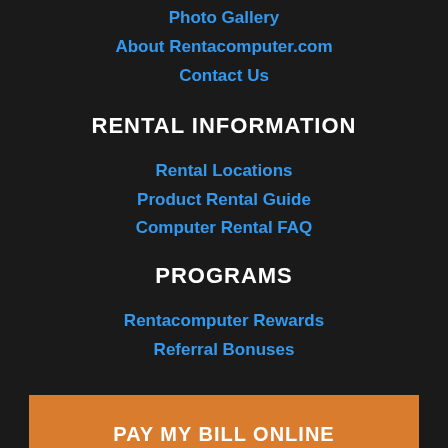Photo Gallery
About Rentacomputer.com
Contact Us
RENTAL INFORMATION
Rental Locations
Product Rental Guide
Computer Rental FAQ
PROGRAMS
Rentacomputer Rewards
Referral Bonuses
PAY MY BILL ONLINE
FOLLOW US ON SOCIAL MEDIA